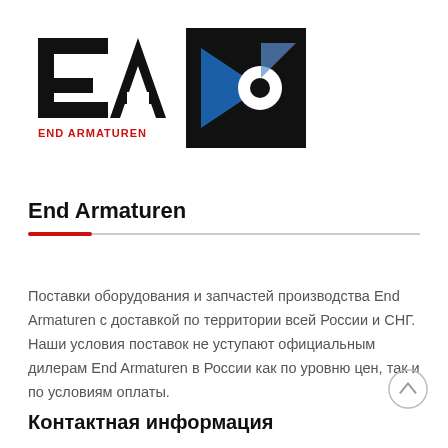[Figure (logo): EA End Armaturen logo (black stylized EA letters with red text 'END ARMATUREN' below) and a second logo (black square with blue triangle and white circle)]
End Armaturen
Поставки оборудования и запчастей производства End Armaturen с доставкой по территории всей России и СНГ. Наши условия поставок не уступают официальным дилерам End Armaturen в России как по уровню цен, так и по условиям оплаты.
Контактная информация